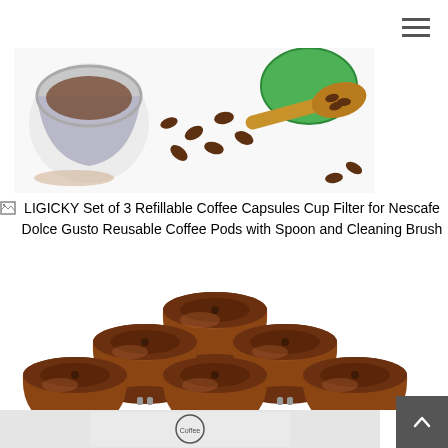[Figure (photo): Product photo showing refillable coffee capsule components: stainless steel capsule cup, scattered coffee beans, green capsule lid, and a wooden spoon with coffee beans on white background]
[Figure (other): Broken image icon placeholder]
LIGICKY Set of 3 Refillable Coffee Capsules Cup Filter for Nescafe Dolce Gusto Reusable Coffee Pods with Spoon and Cleaning Brush
[Figure (photo): Product photo showing 6 brown reusable/refillable coffee capsule pods arranged in a pyramid pattern (1 on top, 2 in middle, 3 on bottom) on white background]
[Figure (photo): Partially visible product packaging or instruction sheet at bottom of page]